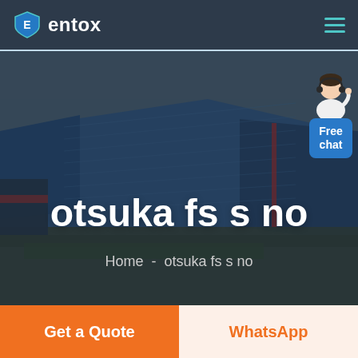entox
[Figure (photo): Aerial view of large industrial warehouse/factory complex with blue roofs, overlaid with dark semi-transparent overlay. Hero banner image for website.]
otsuka fs s no
Home  -  otsuka fs s no
[Figure (illustration): Free chat widget showing a customer service avatar figure and a blue bubble with text 'Free chat']
Get a Quote
WhatsApp